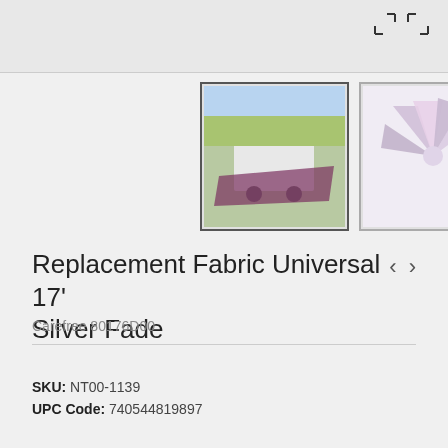[Figure (screenshot): Top portion of a product image (awning/fabric) with expand icon (arrows) in top right corner]
[Figure (photo): Thumbnail 1: RV awning with purple/maroon replacement fabric spread on ground outside a trailer]
[Figure (photo): Thumbnail 2: Fabric swatches fanned out showing silver fade color pattern]
Replacement Fabric Universal 17' Silver Fade
Carefree 80176D00
SKU: NT00-1139
UPC Code: 740544819897
your@email.com
Notify me when available
Add to wishlist   Add to compare